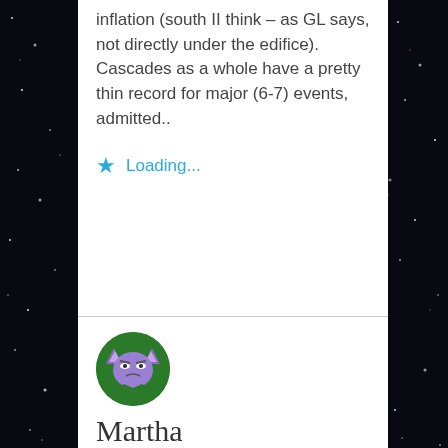inflation (south II think – as GL says, not directly under the edifice). Cascades as a whole have a pretty thin record for major (6-7) events, admitted..
★ Loading...
[Figure (illustration): Circular avatar with green border background, purple cartoon cat/monster character]
Martha Sherwood
28/07/2016 at